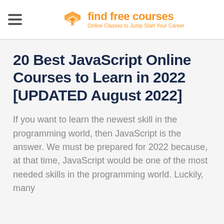find free courses — Online Classes to Jump Start Your Career
20 Best JavaScript Online Courses to Learn in 2022 [UPDATED August 2022]
If you want to learn the newest skill in the programming world, then JavaScript is the answer. We must be prepared for 2022 because, at that time, JavaScript would be one of the most needed skills in the programming world. Luckily, many